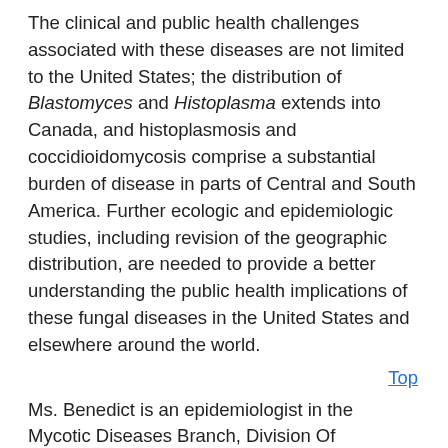The clinical and public health challenges associated with these diseases are not limited to the United States; the distribution of Blastomyces and Histoplasma extends into Canada, and histoplasmosis and coccidioidomycosis comprise a substantial burden of disease in parts of Central and South America. Further ecologic and epidemiologic studies, including revision of the geographic distribution, are needed to provide a better understanding the public health implications of these fungal diseases in the United States and elsewhere around the world.
Top
Ms. Benedict is an epidemiologist in the Mycotic Diseases Branch, Division Of Foodborne, Waterborne, and Environmental Diseases, National Center For Emerging and Zoonotic Infectious Diseases Centers for Disease Control and Prevention. Her research